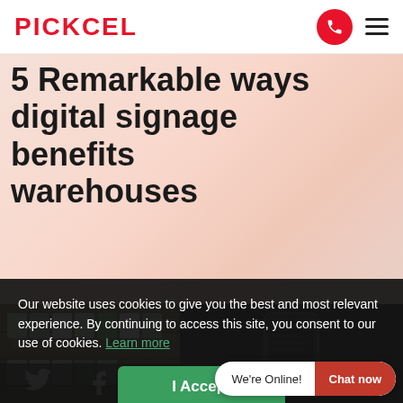PICKCEL
5 Remarkable ways digital signage benefits warehouses
Our website uses cookies to give you the best and most relevant experience. By continuing to access this site, you consent to our use of cookies. Learn more
I Accept
[Figure (photo): Warehouse shelf with product boxes and a dark overlay showing social media icons and a phone screen mockup]
We're Online!  Chat now